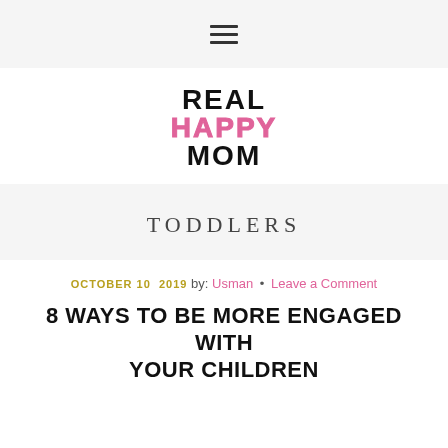≡
[Figure (logo): Real Happy Mom logo — stacked text: REAL in black, HAPPY in pink, MOM in black, bold uppercase]
TODDLERS
OCTOBER 10  2019  by: Usman • Leave a Comment
8 WAYS TO BE MORE ENGAGED WITH YOUR CHILDREN